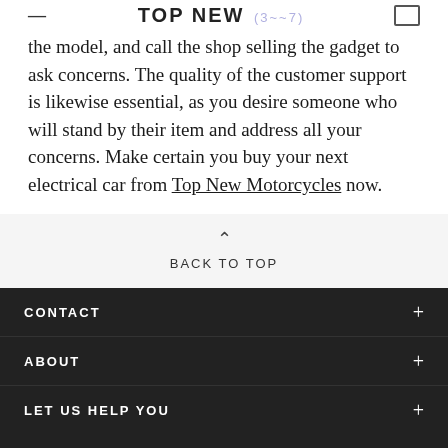TOP NEW
the model, and call the shop selling the gadget to ask concerns. The quality of the customer support is likewise essential, as you desire someone who will stand by their item and address all your concerns. Make certain you buy your next electrical car from Top New Motorcycles now.
BACK TO TOP
CONTACT
ABOUT
LET US HELP YOU
[Figure (other): Social media icons: Facebook, Instagram, Twitter, Pinterest, YouTube]
[Figure (other): Payment method icons: MasterCard, Visa, PayPal, American Express, Discover, Maestro]